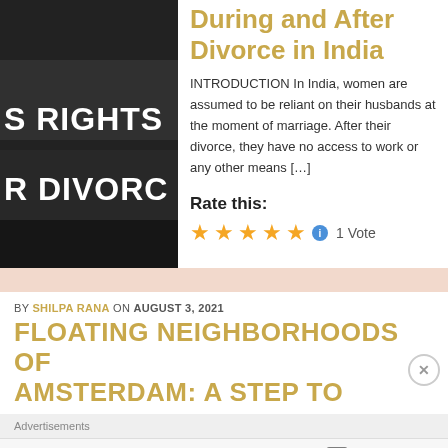[Figure (photo): Dark background book or sign with white text showing 'S RIGHTS' and 'R DIVORC' (partial text visible)]
During and After Divorce in India
INTRODUCTION In India, women are assumed to be reliant on their husbands at the moment of marriage. After their divorce, they have no access to work or any other means […]
Rate this:
★★★★★ ℹ 1 Vote
BY SHILPA RANA ON AUGUST 3, 2021
FLOATING NEIGHBORHOODS OF AMSTERDAM: A STEP TO
Advertisements